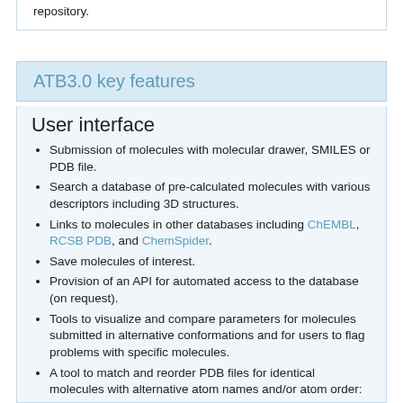repository.
ATB3.0 key features
User interface
Submission of molecules with molecular drawer, SMILES or PDB file.
Search a database of pre-calculated molecules with various descriptors including 3D structures.
Links to molecules in other databases including ChEMBL, RCSB PDB, and ChemSpider.
Save molecules of interest.
Provision of an API for automated access to the database (on request).
Tools to visualize and compare parameters for molecules submitted in alternative conformations and for users to flag problems with specific molecules.
A tool to match and reorder PDB files for identical molecules with alternative atom names and/or atom order: PDB Match and Reorder.